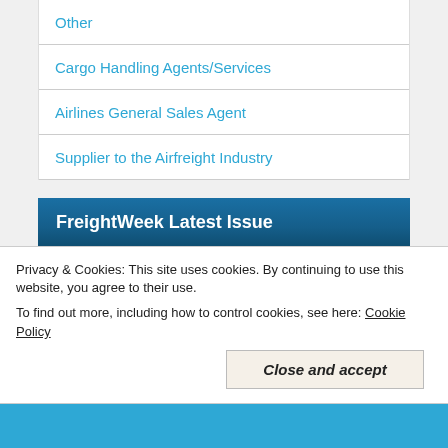Other
Cargo Handling Agents/Services
Airlines General Sales Agent
Supplier to the Airfreight Industry
FreightWeek Latest Issue
[Figure (photo): Stack of FreightWeek magazine issues, with the front cover showing 'freightweek' branding and a man in a suit on the cover.]
Privacy & Cookies: This site uses cookies. By continuing to use this website, you agree to their use.
To find out more, including how to control cookies, see here: Cookie Policy
Close and accept